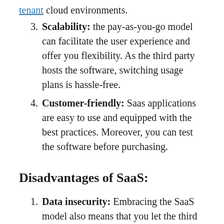tenant cloud environments.
3. Scalability: the pay-as-you-go model can facilitate the user experience and offer you flexibility. As the third party hosts the software, switching usage plans is hassle-free.
4. Customer-friendly: Saas applications are easy to use and equipped with the best practices. Moreover, you can test the software before purchasing.
Disadvantages of SaaS:
1. Data insecurity: Embracing the SaaS model also means that you let the third party keep your data, exposing your business to